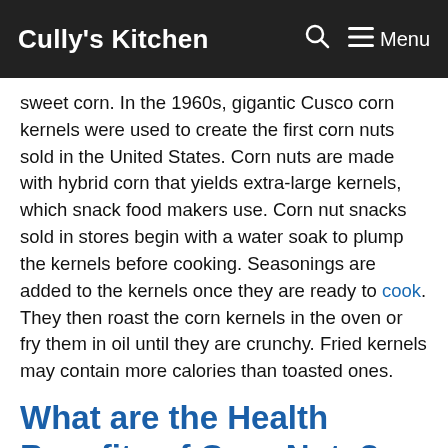Cully's Kitchen  🔍  ☰ Menu
sweet corn. In the 1960s, gigantic Cusco corn kernels were used to create the first corn nuts sold in the United States. Corn nuts are made with hybrid corn that yields extra-large kernels, which snack food makers use. Corn nut snacks sold in stores begin with a water soak to plump the kernels before cooking. Seasonings are added to the kernels once they are ready to cook. They then roast the corn kernels in the oven or fry them in oil until they are crunchy. Fried kernels may contain more calories than toasted ones.
What are the Health Benefits of Corn Nuts?